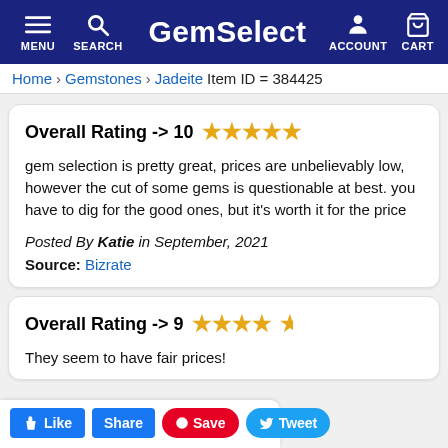GemSelect — MENU SEARCH ACCOUNT CART
Home > Gemstones > Jadeite  Item ID = 384425
Overall Rating -> 10 ★★★★★

gem selection is pretty great, prices are unbelievably low, however the cut of some gems is questionable at best. you have to dig for the good ones, but it's worth it for the price

Posted By Katie in September, 2021

Source: Bizrate
Overall Rating -> 9 ★★★★½

They seem to have fair prices!